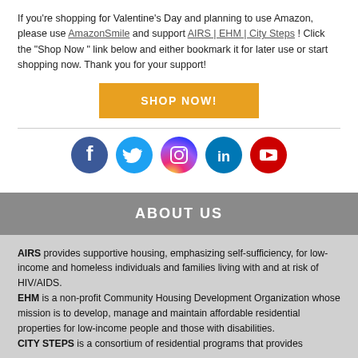If you're shopping for Valentine's Day and planning to use Amazon, please use AmazonSmile and support AIRS | EHM | City Steps ! Click the "Shop Now " link below and either bookmark it for later use or start shopping now. Thank you for your support!
[Figure (other): Orange 'SHOP NOW!' button]
[Figure (other): Social media icons row: Facebook (dark blue), Twitter (light blue), Instagram (pink/purple), LinkedIn (teal), YouTube (red)]
ABOUT US
AIRS provides supportive housing, emphasizing self-sufficiency, for low-income and homeless individuals and families living with and at risk of HIV/AIDS.
EHM is a non-profit Community Housing Development Organization whose mission is to develop, manage and maintain affordable residential properties for low-income people and those with disabilities.
CITY STEPS is a consortium of residential programs that provides